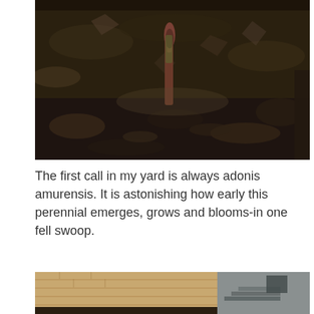[Figure (photo): Close-up photograph of a plant shoot emerging from dark soil and leaf litter, with reddish-green stem visible]
The first call in my yard is always adonis amurensis. It is astonishing how early this perennial emerges, grows and blooms-in one fell swoop.
[Figure (photo): Photograph of a yellow adonis amurensis flower bud emerging from dark soil, with a brick wall and outdoor staircase visible in the background]